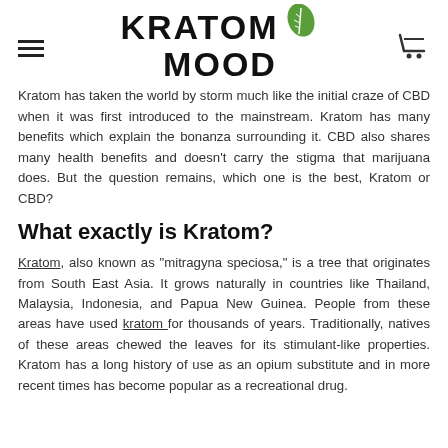KRATOM MOOD
Kratom has taken the world by storm much like the initial craze of CBD when it was first introduced to the mainstream. Kratom has many benefits which explain the bonanza surrounding it. CBD also shares many health benefits and doesn't carry the stigma that marijuana does. But the question remains, which one is the best, Kratom or CBD?
What exactly is Kratom?
Kratom, also known as "mitragyna speciosa," is a tree that originates from South East Asia. It grows naturally in countries like Thailand, Malaysia, Indonesia, and Papua New Guinea. People from these areas have used kratom for thousands of years. Traditionally, natives of these areas chewed the leaves for its stimulant-like properties. Kratom has a long history of use as an opium substitute and in more recent times has become popular as a recreational drug.